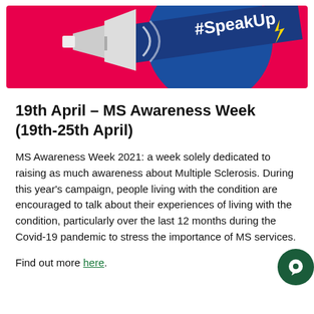[Figure (illustration): MS Awareness Week #SpeakUp banner with megaphone graphic on red and blue background]
19th April – MS Awareness Week (19th-25th April)
MS Awareness Week 2021: a week solely dedicated to raising as much awareness about Multiple Sclerosis. During this year's campaign, people living with the condition are encouraged to talk about their experiences of living with the condition, particularly over the last 12 months during the Covid-19 pandemic to stress the importance of MS services.
Find out more here.